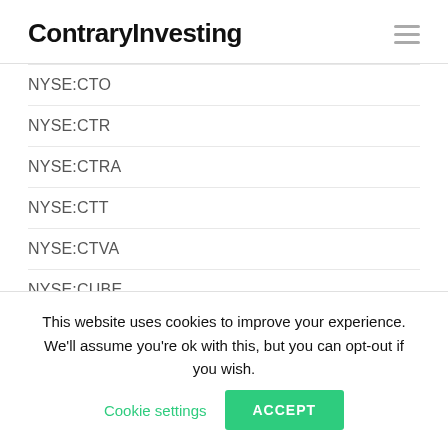ContraryInvesting
NYSE:CTO
NYSE:CTR
NYSE:CTRA
NYSE:CTT
NYSE:CTVA
NYSE:CUBE
NYSE:CUZ
NYSE:CVA
NYSE:CVI
This website uses cookies to improve your experience. We'll assume you're ok with this, but you can opt-out if you wish. Cookie settings ACCEPT